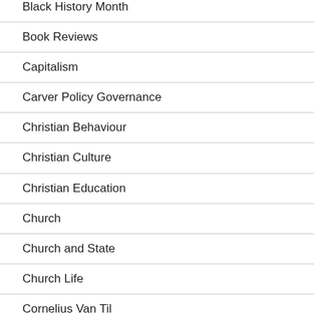Black History Month
Book Reviews
Capitalism
Carver Policy Governance
Christian Behaviour
Christian Culture
Christian Education
Church
Church and State
Church Life
Cornelius Van Til
Covid 19